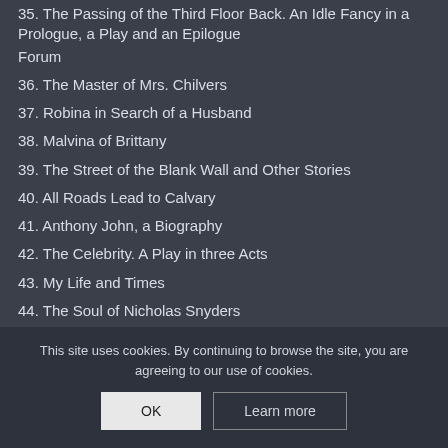35. The Passing of the Third Floor Back. An Idle Fancy in a Prologue, a Play and an Epilogue
Forum
36. The Master of Mrs. Chilvers
37. Robina in Search of a Husband
38. Malvina of Brittany
39. The Street of the Blank Wall and Other Stories
40. All Roads Lead to Calvary
41. Anthony John, a Biography
42. The Celebrity. A Play in three Acts
43. My Life and Times
44. The Soul of Nicholas Snyders
45. A Comment on Bicycles and Cycling Posters in the Nineties
This site uses cookies. By continuing to browse the site, you are agreeing to our use of cookies.